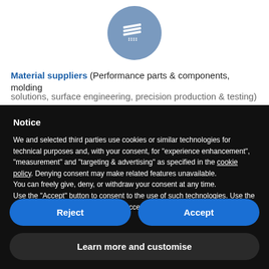[Figure (illustration): Blue circle icon with white stacked layers/sheets engineering symbol]
Material suppliers (Performance parts & components, molding solutions, surface engineering, precision production & testing)
Notice
We and selected third parties use cookies or similar technologies for technical purposes and, with your consent, for "experience enhancement", "measurement" and "targeting & advertising" as specified in the cookie policy. Denying consent may make related features unavailable.
You can freely give, deny, or withdraw your consent at any time.
Use the "Accept" button to consent to the use of such technologies. Use the "Reject" button to continue without accepting.
Reject
Accept
Learn more and customise